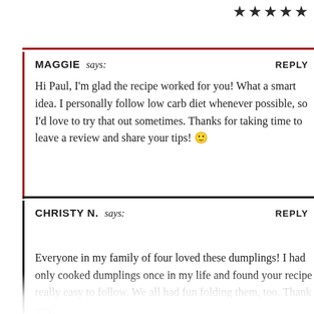[Figure (other): Five dark star rating icons in top-right corner]
MAGGIE says: REPLY
Hi Paul, I'm glad the recipe worked for you! What a smart idea. I personally follow low carb diet whenever possible, so I'd love to try that out sometimes. Thanks for taking time to leave a review and share your tips! 🙂
CHRISTY N. says: REPLY
Everyone in my family of four loved these dumplings! I had only cooked dumplings once in my life and found your recipe really easy to follow. We all had fun folding them, too. Thank you!